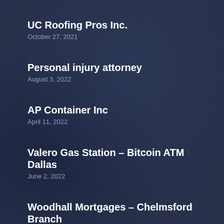UC Roofing Pros Inc.
October 27, 2021
Personal injury attorney
August 3, 2022
AP Container Inc
April 11, 2022
Valero Gas Station – Bitcoin ATM Dallas
June 2, 2022
Woodhall Mortgages – Chelmsford Branch
February 1, 2022